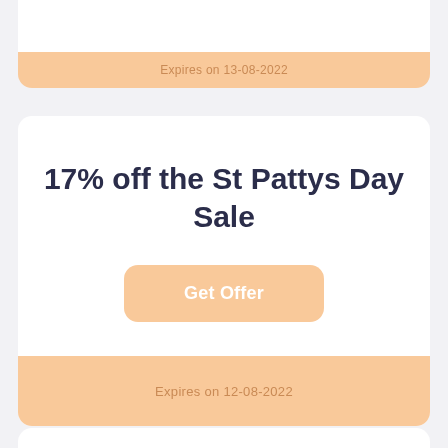Expires on 13-08-2022
17% off the St Pattys Day Sale
Get Offer
Expires on 12-08-2022